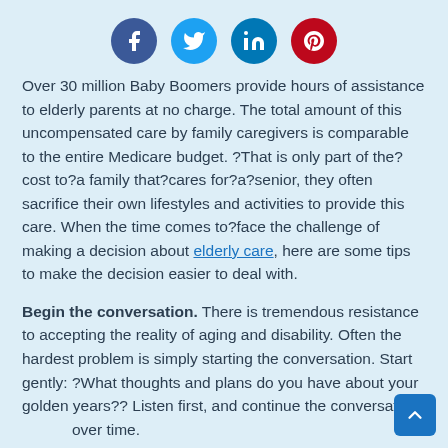[Figure (other): Four social media sharing icons: Facebook (blue circle), Twitter (light blue circle), LinkedIn (blue circle), Pinterest (red circle)]
Over 30 million Baby Boomers provide hours of assistance to elderly parents at no charge. The total amount of this uncompensated care by family caregivers is comparable to the entire Medicare budget. ?That is only part of the?cost to?a family that?cares for?a?senior, they often sacrifice their own lifestyles and activities to provide this care. When the time comes to?face the challenge of making a decision about elderly care, here are some tips to make the decision easier to deal with.
Begin the conversation. There is tremendous resistance to accepting the reality of aging and disability. Often the hardest problem is simply starting the conversation. Start gently: ?What thoughts and plans do you have about your golden years?? Listen first, and continue the conversation over time.